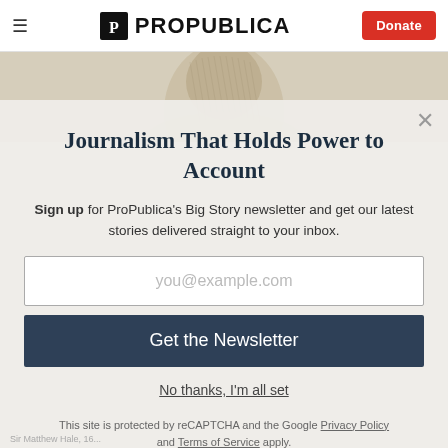ProPublica — Donate
[Figure (photo): Cropped historical portrait illustration, sepia tones, visible in background behind modal]
Journalism That Holds Power to Account
Sign up for ProPublica's Big Story newsletter and get our latest stories delivered straight to your inbox.
you@example.com
Get the Newsletter
No thanks, I'm all set
This site is protected by reCAPTCHA and the Google Privacy Policy and Terms of Service apply.
Sir Matthew Hale, 16...